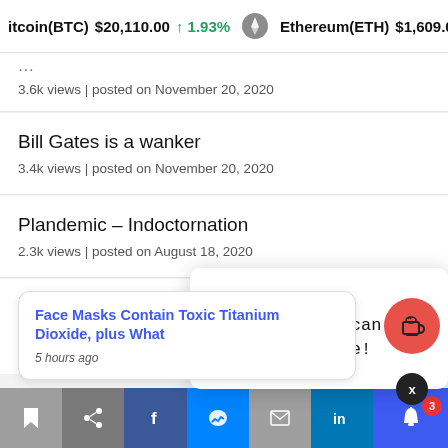itcoin(BTC) $20,110.00 ↑1.93% Ethereum(ETH) $1,609.02 ↑
3.6k views | posted on November 20, 2020
Bill Gates is a wanker
3.4k views | posted on November 20, 2020
Plandemic – Indoctornation
2.3k views | posted on August 18, 2020
Thank you for visiting. You can now buy me a coffee!
David ... (99)
Noma...
3.3k views | posted on November 20, 2021
Face Masks Contain Toxic Titanium Dioxide, plus What
5 hours ago
Toolbar buttons: bookmark, share, facebook, messenger, email, linkedin, bell(3)